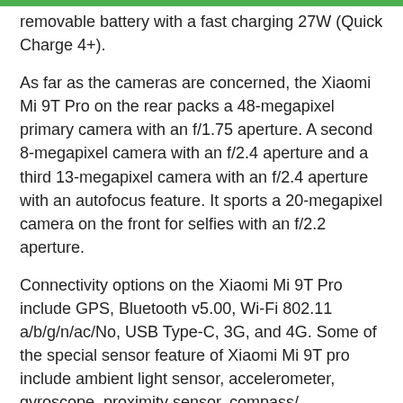removable battery with a fast charging 27W (Quick Charge 4+).
As far as the cameras are concerned, the Xiaomi Mi 9T Pro on the rear packs a 48-megapixel primary camera with an f/1.75 aperture. A second 8-megapixel camera with an f/2.4 aperture and a third 13-megapixel camera with an f/2.4 aperture with an autofocus feature. It sports a 20-megapixel camera on the front for selfies with an f/2.2 aperture.
Connectivity options on the Xiaomi Mi 9T Pro include GPS, Bluetooth v5.00, Wi-Fi 802.11 a/b/g/n/ac/No, USB Type-C, 3G, and 4G. Some of the special sensor feature of Xiaomi Mi 9T pro include ambient light sensor, accelerometer, gyroscope, proximity sensor, compass/magnetometer, and fingerprint sensor.